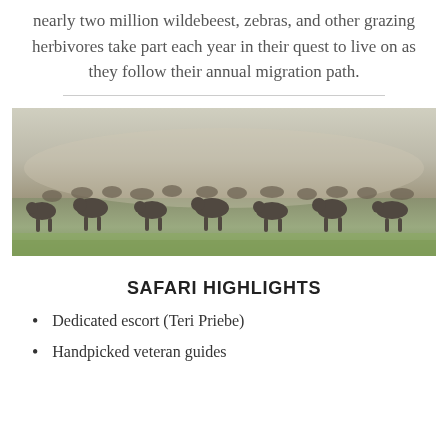nearly two million wildebeest, zebras, and other grazing herbivores take part each year in their quest to live on as they follow their annual migration path.
[Figure (photo): A large herd of wildebeest on the Serengeti plain, dusty savanna landscape with grass in the foreground and haze in the background.]
SAFARI HIGHLIGHTS
Dedicated escort (Teri Priebe)
Handpicked veteran guides